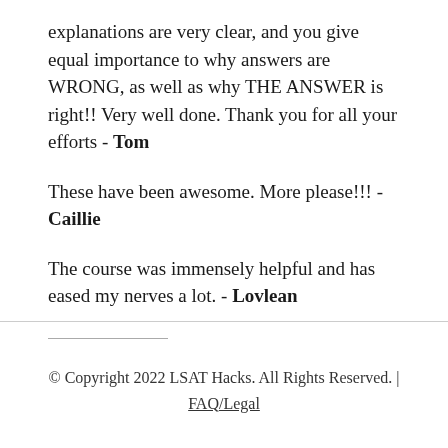explanations are very clear, and you give equal importance to why answers are WRONG, as well as why THE ANSWER is right!! Very well done. Thank you for all your efforts - Tom
These have been awesome. More please!!! - Caillie
The course was immensely helpful and has eased my nerves a lot. - Lovlean
© Copyright 2022 LSAT Hacks. All Rights Reserved. | FAQ/Legal